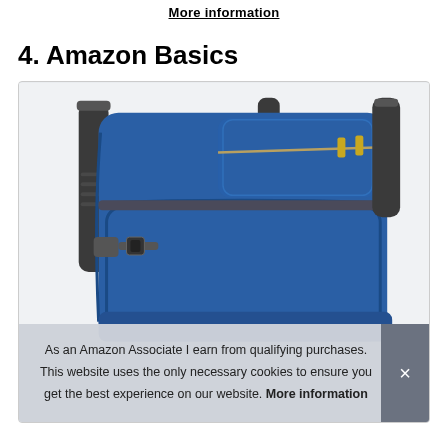More information
4. Amazon Basics
[Figure (photo): Blue Amazon Basics backpack with grey trim, shown from the back/side angle with shoulder straps, buckles, and multiple zippered compartments visible.]
As an Amazon Associate I earn from qualifying purchases. This website uses the only necessary cookies to ensure you get the best experience on our website. More information